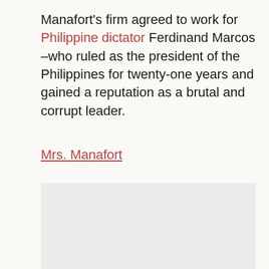Manafort's firm agreed to work for Philippine dictator Ferdinand Marcos –who ruled as the president of the Philippines for twenty-one years and gained a reputation as a brutal and corrupt leader.
Mrs. Manafort
[Figure (other): Gray placeholder box representing an image or advertisement area]